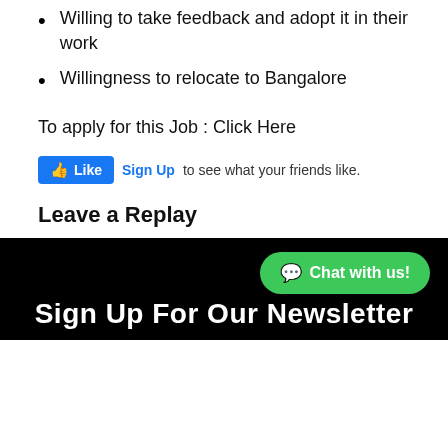Willing to take feedback and adopt it in their work
Willingness to relocate to Bangalore
To apply for this Job : Click Here
[Figure (other): Facebook Like widget with Sign Up link and text 'to see what your friends like.']
Leave a Replay
[Figure (other): Green WhatsApp Chat with us button in bottom right corner over black footer]
Sign Up For Our Newsletter